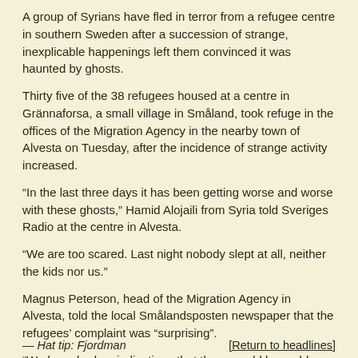A group of Syrians have fled in terror from a refugee centre in southern Sweden after a succession of strange, inexplicable happenings left them convinced it was haunted by ghosts.
Thirty five of the 38 refugees housed at a centre in Grännaforsa, a small village in Småland, took refuge in the offices of the Migration Agency in the nearby town of Alvesta on Tuesday, after the incidence of strange activity increased.
“In the last three days it has been getting worse and worse with these ghosts,” Hamid Alojaili from Syria told Sveriges Radio at the centre in Alvesta.
“We are too scared. Last night nobody slept at all, neither the kids nor us.”
Magnus Peterson, head of the Migration Agency in Alvesta, told the local Smålandsposten newspaper that the refugees’ complaint was “surprising”.
“We have had no indications that there would be problems with ghosts before,” he said.
— Hat tip: Fjordman        [Return to headlines]